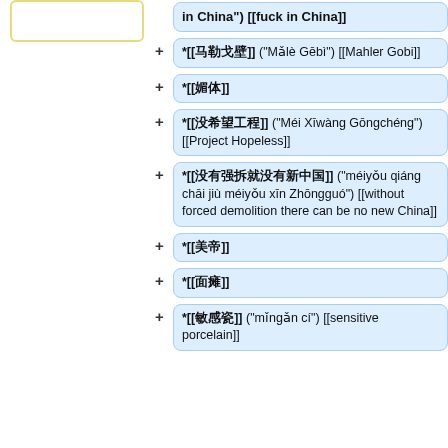in China") [[fuck in China]]
*[[马勒戈壁]] ("Mǎlè Gēbì") [[Mahler Gobi]]
*[[媚体]]
*[[没希望工程]] ("Méi Xīwàng Gōngchéng") [[Project Hopeless]]
*[[没有强拆就没有新中国]] ("méiyǒu qiáng chāi jiù méiyǒu xīn Zhōngguó") [[without forced demolition there can be no new China]]
*[[美帝]]
*[[面瘫]]
*[[敏感瓷]] ("mǐngǎn cí") [[sensitive porcelain]]